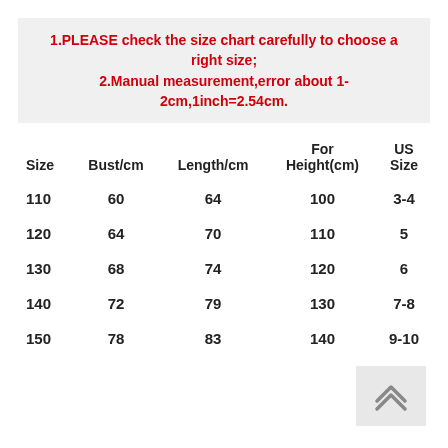1.PLEASE check the size chart carefully to choose a right size; 2.Manual measurement,error about 1-2cm,1inch=2.54cm.
| Size | Bust/cm | Length/cm | For Height(cm) | US Size |
| --- | --- | --- | --- | --- |
| 110 | 60 | 64 | 100 | 3-4 |
| 120 | 64 | 70 | 110 | 5 |
| 130 | 68 | 74 | 120 | 6 |
| 140 | 72 | 79 | 130 | 7-8 |
| 150 | 78 | 83 | 140 | 9-10 |
[Figure (other): Scroll-to-top button with upward double chevron arrow icon]